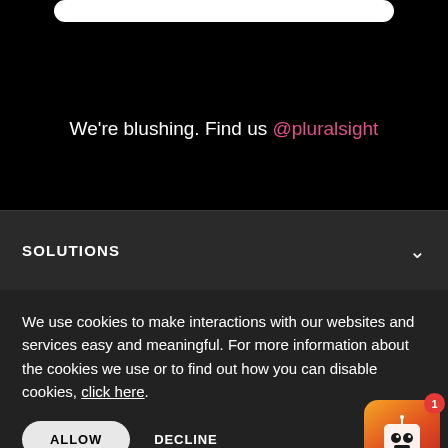[Figure (screenshot): White search/input bar at the top of a dark mobile screen]
We're blushing. Find us @pluralsight
SOLUTIONS
We use cookies to make interactions with our websites and services easy and meaningful. For more information about the cookies we use or to find out how you can disable cookies, click here.
[Figure (illustration): ALLOW and DECLINE cookie consent buttons, with a robot chatbot icon with notification badge in the bottom-right corner]